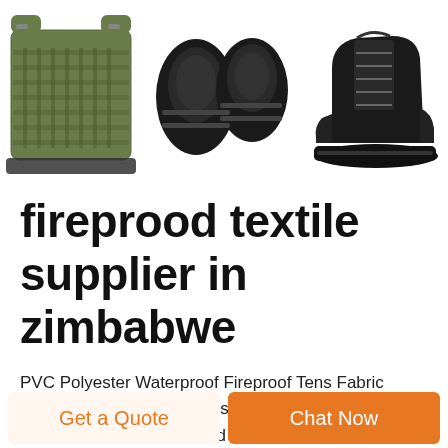[Figure (photo): Three product photos side by side: a military-style tactical vest in olive/green, black knee/elbow pads, and a black tactical boot/shoe on white background.]
fireprood textile supplier in zimbabwe
PVC Polyester Waterproof Fireproof Tens Fabric Manufacturers. PVC Polyester Waterproof Fabric Manufacturers. Established in 2001, Zhejiang Xingyida Reinforced Material Co., Ltd has become one of the leading China PVC Polyester Waterproof Fabric Manufacturers and waterproof fireproof pvc fabric factory, Our manufacture plant, located in Haining City, 100km apart from
Get a Quote
Chat Now